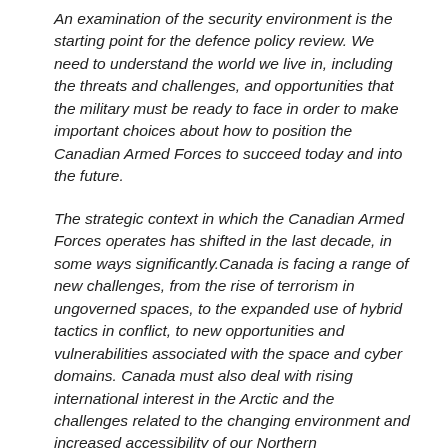An examination of the security environment is the starting point for the defence policy review. We need to understand the world we live in, including the threats and challenges, and opportunities that the military must be ready to face in order to make important choices about how to position the Canadian Armed Forces to succeed today and into the future.
The strategic context in which the Canadian Armed Forces operates has shifted in the last decade, in some ways significantly.Canada is facing a range of new challenges, from the rise of terrorism in ungoverned spaces, to the expanded use of hybrid tactics in conflict, to new opportunities and vulnerabilities associated with the space and cyber domains. Canada must also deal with rising international interest in the Arctic and the challenges related to the changing environment and increased accessibility of our Northern